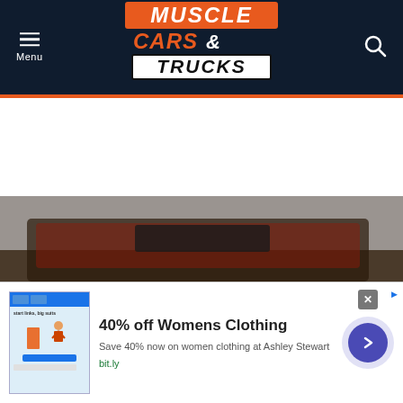Muscle Cars & Trucks - website header navigation
[Figure (screenshot): Muscle Cars & Trucks website header with dark navy background, orange and white logo text, hamburger Menu button on left, and search icon on right]
[Figure (photo): Partial photo of a red/dark muscle car or truck against a grey sky, visible at bottom of page]
[Figure (infographic): Advertisement banner: 40% off Womens Clothing - Save 40% now on women clothing at Ashley Stewart - bit.ly - with thumbnail image of website screenshot and circular arrow button]